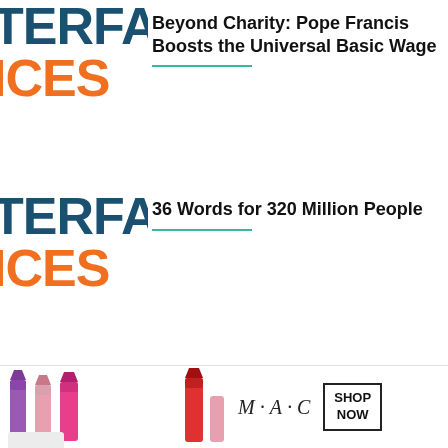[Figure (logo): TERFACES logo — TERFA in dark teal, ICES in orange, cropped to show partial text]
Beyond Charity: Pope Francis Boosts the Universal Basic Wage
[Figure (logo): TERFACES logo — TERFA in dark teal, ICES in orange, cropped to show partial text]
36 Words for 320 Million People
[Figure (logo): TERFACES logo — TERFA in dark teal, ICES in orange, partial, with chevron button]
Exploring America’s Religious Diversity Through Music
[Figure (photo): MAC cosmetics advertisement with lipsticks and SHOP NOW button]